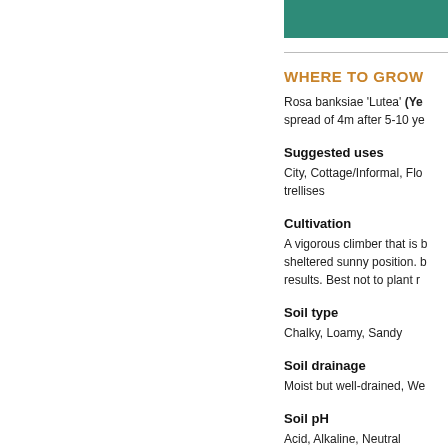WHERE TO GROW
Rosa banksiae 'Lutea' (Ye... spread of 4m after 5-10 ye...
Suggested uses
City, Cottage/Informal, Flo... trellises
Cultivation
A vigorous climber that is b... sheltered sunny position. b... results. Best not to plant r...
Soil type
Chalky, Loamy, Sandy
Soil drainage
Moist but well-drained, We...
Soil pH
Acid, Alkaline, Neutral